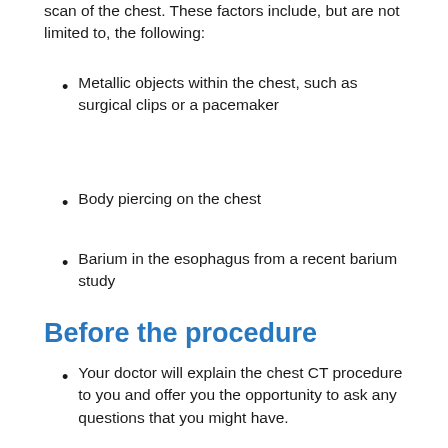scan of the chest. These factors include, but are not limited to, the following:
Metallic objects within the chest, such as surgical clips or a pacemaker
Body piercing on the chest
Barium in the esophagus from a recent barium study
Before the procedure
Your doctor will explain the chest CT procedure to you and offer you the opportunity to ask any questions that you might have.